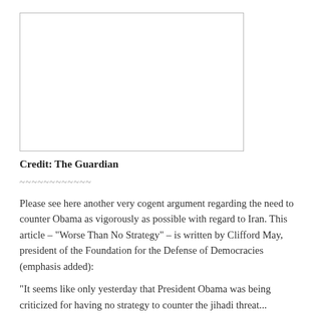[Figure (photo): Blank/white image placeholder with a thin border]
Credit: The Guardian
~~~~~~~~~~~~
Please see here another very cogent argument regarding the need to counter Obama as vigorously as possible with regard to Iran. This article – "Worse Than No Strategy" – is written by Clifford May, president of the Foundation for the Defense of Democracies (emphasis added):
“It seems like only yesterday that President Obama was being criticized for having no strategy to counter the jihadi threat...